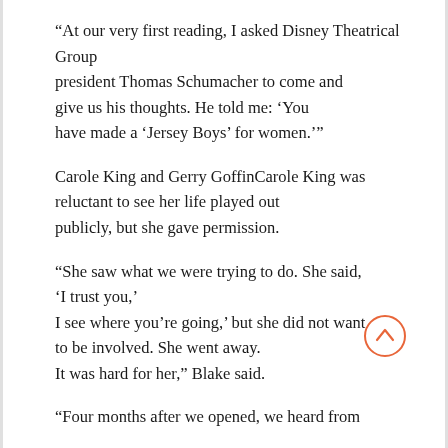“At our very first reading, I asked Disney Theatrical Group president Thomas Schumacher to come and give us his thoughts. He told me: ‘You have made a ‘Jersey Boys’ for women.’”
Carole King and Gerry GoffinCarole King was reluctant to see her life played out publicly, but she gave permission.
“She saw what we were trying to do. She said, ‘I trust you,’ I see where you’re going,’ but she did not want to be involved. She went away. It was hard for her,” Blake said.
“Four months after we opened, we heard from